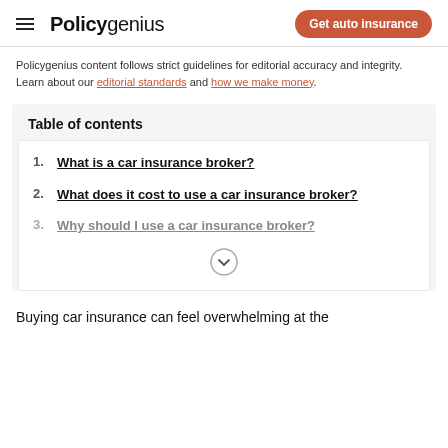Policygenius | Get auto insurance
Policygenius content follows strict guidelines for editorial accuracy and integrity. Learn about our editorial standards and how we make money.
Table of contents
1. What is a car insurance broker?
2. What does it cost to use a car insurance broker?
3. Why should I use a car insurance broker?
Buying car insurance can feel overwhelming at the